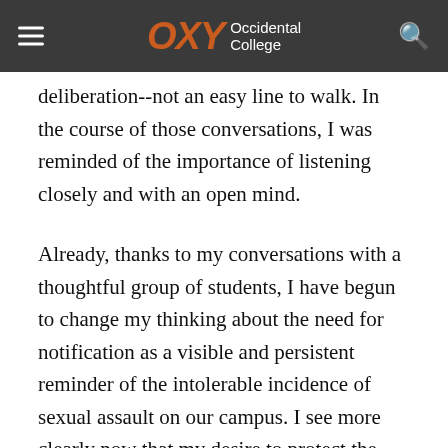OXY Occidental College
conversations point to the necessity of acting promptly and the concomitant need to do so with deliberation--not an easy line to walk. In the course of those conversations, I was reminded of the importance of listening closely and with an open mind.
Already, thanks to my conversations with a thoughtful group of students, I have begun to change my thinking about the need for notification as a visible and persistent reminder of the intolerable incidence of sexual assault on our campus. I see more clearly now that my desire to protect the privacy of the survivor (and perhaps an unconscious and perhaps not entirely blameworthy desire to protect the reputation of the College)